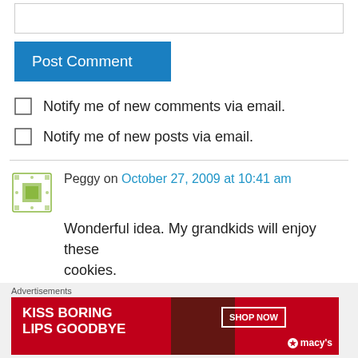[Figure (screenshot): Empty textarea input box with light gray border]
Post Comment
Notify me of new comments via email.
Notify me of new posts via email.
Peggy on October 27, 2009 at 10:41 am
Wonderful idea. My grandkids will enjoy these cookies.
Like
Advertisements
[Figure (screenshot): Macy's advertisement banner: KISS BORING LIPS GOODBYE with SHOP NOW button and macys logo]